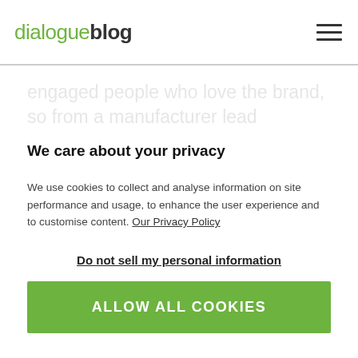dialogue blog
engaged people who love the brand, so from a manufacturer lead perspective, tapping into an existing community is a very cost-effective way to reach potential
We care about your privacy
We use cookies to collect and analyse information on site performance and usage, to enhance the user experience and to customise content. Our Privacy Policy
Do not sell my personal information
ALLOW ALL COOKIES